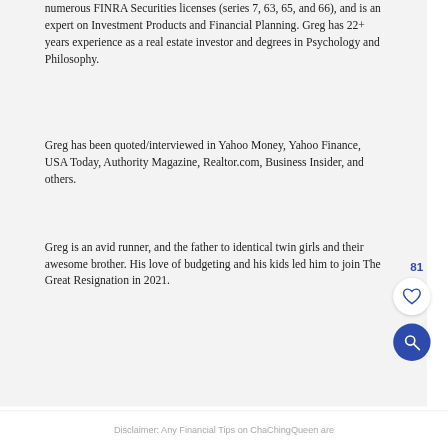numerous FINRA Securities licenses (series 7, 63, 65, and 66), and is an expert on Investment Products and Financial Planning. Greg has 22+ years experience as a real estate investor and degrees in Psychology and Philosophy.
Greg has been quoted/interviewed in Yahoo Money, Yahoo Finance, USA Today, Authority Magazine, Realtor.com, Business Insider, and others.
Greg is an avid runner, and the father to identical twin girls and their awesome brother. His love of budgeting and his kids led him to join The Great Resignation in 2021.
Disclaimer: Any Financial Tips on ChaChingQueen are